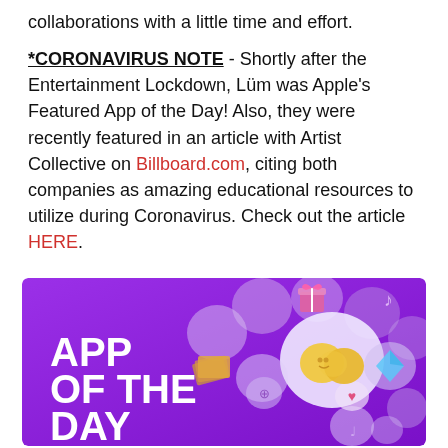collaborations with a little time and effort.
*CORONAVIRUS NOTE - Shortly after the Entertainment Lockdown, Lüm was Apple's Featured App of the Day! Also, they were recently featured in an article with Artist Collective on Billboard.com, citing both companies as amazing educational resources to utilize during Coronavirus. Check out the article HERE.
[Figure (illustration): Purple gradient banner with white bold text 'APP OF THE DAY' on the left side, and various colorful app icons and emoji on a purple/violet background.]